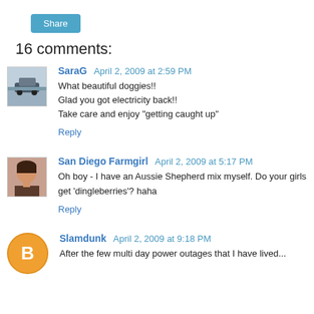[Figure (other): Share button (blue rounded rectangle)]
16 comments:
[Figure (photo): Avatar of SaraG - outdoor snowy scene with vehicle]
SaraG April 2, 2009 at 2:59 PM
What beautiful doggies!!
Glad you got electricity back!!
Take care and enjoy "getting caught up"
Reply
[Figure (photo): Avatar of San Diego Farmgirl - woman smiling]
San Diego Farmgirl April 2, 2009 at 5:17 PM
Oh boy - I have an Aussie Shepherd mix myself. Do your girls get 'dingleberries'? haha
Reply
[Figure (logo): Blogger default avatar - orange circle with B]
Slamdunk April 2, 2009 at 9:18 PM
After the few multi day power outages that I have lived...